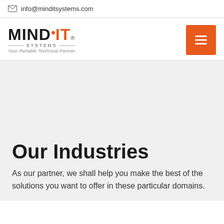info@minditsystems.com
[Figure (logo): Mind IT Systems logo with tagline 'Your Reliable Technical Partner' and orange hamburger menu button]
Our Industries
As our partner, we shall help you make the best of the solutions you want to offer in these particular domains.